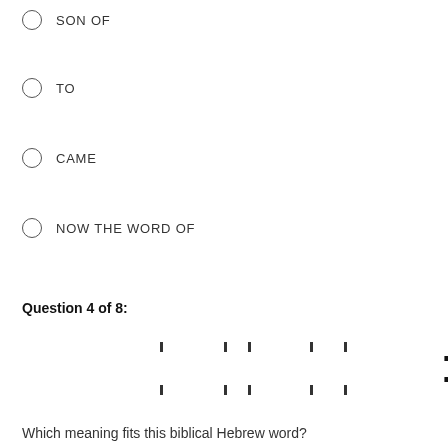SON OF
TO
CAME
NOW THE WORD OF
Question 4 of 8:
[Figure (other): Biblical Hebrew text: דְּבַר־יְהוָה הָיָה אֶל־יוֹנָה בֶן־אֲמִתַּי לֵאמֹר with bracket annotations highlighting the word אֶל in red]
Which meaning fits this biblical Hebrew word?